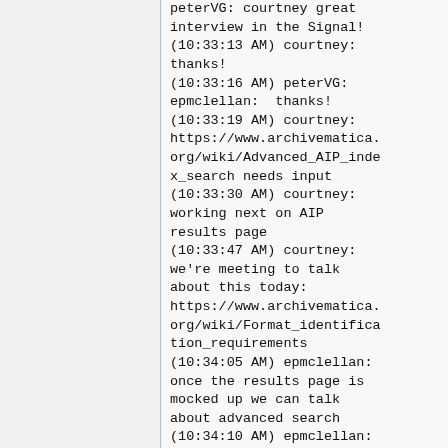peterVG: courtney great interview in the Signal!
(10:33:13 AM) courtney: thanks!
(10:33:16 AM) peterVG: epmclellan:  thanks!
(10:33:19 AM) courtney: https://www.archivematica.org/wiki/Advanced_AIP_index_search needs input
(10:33:30 AM) courtney: working next on AIP results page
(10:33:47 AM) courtney: we're meeting to talk about this today: https://www.archivematica.org/wiki/Format_identification_requirements
(10:34:05 AM) epmclellan: once the results page is mocked up we can talk about advanced search
(10:34:10 AM) epmclellan: whenever you're ready